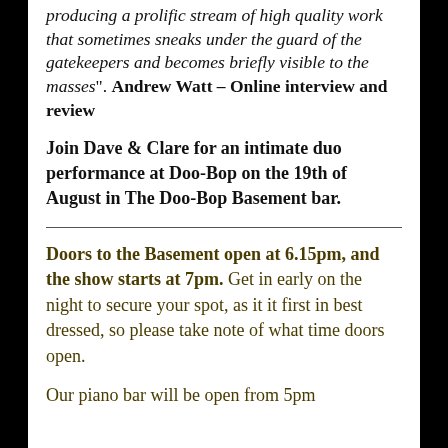producing a prolific stream of high quality work that sometimes sneaks under the guard of the gatekeepers and becomes briefly visible to the masses". Andrew Watt – Online interview and review
Join Dave & Clare for an intimate duo performance at Doo-Bop on the 19th of August in The Doo-Bop Basement bar.
Doors to the Basement open at 6.15pm, and the show starts at 7pm. Get in early on the night to secure your spot, as it it first in best dressed, so please take note of what time doors open.
Our piano bar will be open from 5pm